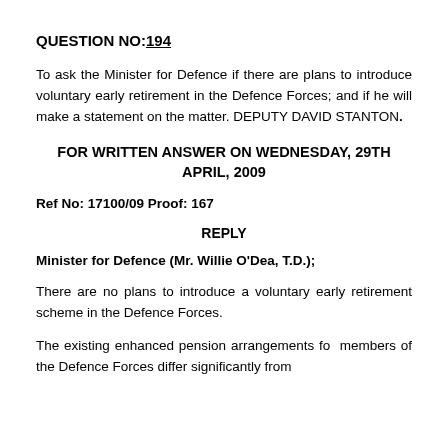QUESTION NO: 194
To ask the Minister for Defence if there are plans to introduce voluntary early retirement in the Defence Forces; and if he will make a statement on the matter. DEPUTY DAVID STANTON.
FOR WRITTEN ANSWER ON WEDNESDAY, 29TH APRIL, 2009
Ref No: 17100/09 Proof: 167
REPLY
Minister for Defence (Mr. Willie O'Dea, T.D.);
There are no plans to introduce a voluntary early retirement scheme in the Defence Forces.
The existing enhanced pension arrangements for members of the Defence Forces differ significantly from